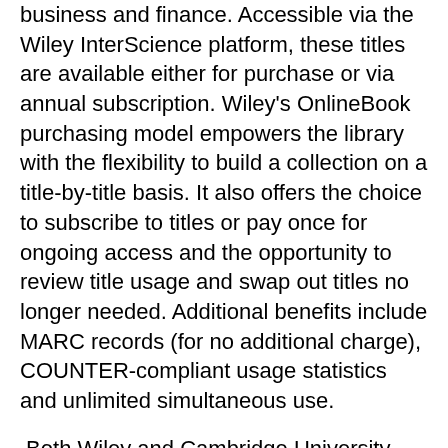business and finance. Accessible via the Wiley InterScience platform, these titles are available either for purchase or via annual subscription. Wiley's OnlineBook purchasing model empowers the library with the flexibility to build a collection on a title-by-title basis. It also offers the choice to subscribe to titles or pay once for ongoing access and the opportunity to review title usage and swap out titles no longer needed. Additional benefits include MARC records (for no additional charge), COUNTER-compliant usage statistics and unlimited simultaneous use.
Both Wiley and Cambridge University Press have extensive collections of online books
Another major publisher with a strong e-book offering is Taylor & Francis. Its eCollections are focused in the areas of social sciences and humanities and have been sourced from imprints such as Routledge, RoutledgeFalmer and Taylor & Francis. These eCollections are available as annual subscriptions in the following subject-specific areas: education, philosophy, history, business, and government, traditional and